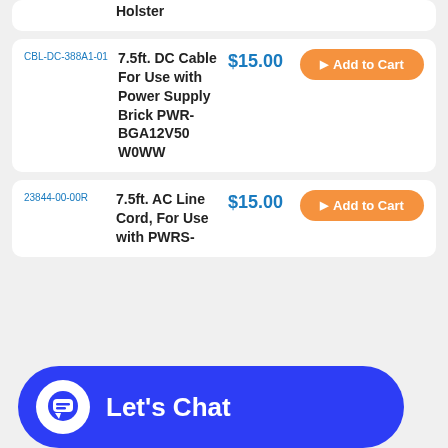| SKU | Product Name | Price | Action |
| --- | --- | --- | --- |
|  | Holster |  |  |
| CBL-DC-388A1-01 | 7.5ft. DC Cable For Use with Power Supply Brick PWR-BGA12V50W0WW | $15.00 | Add to Cart |
| 23844-00-00R | 7.5ft. AC Line Cord, For Use with PWRS-... | $15.00 | Add to Cart |
[Figure (other): Let's Chat live chat button overlay with speech bubble icon]